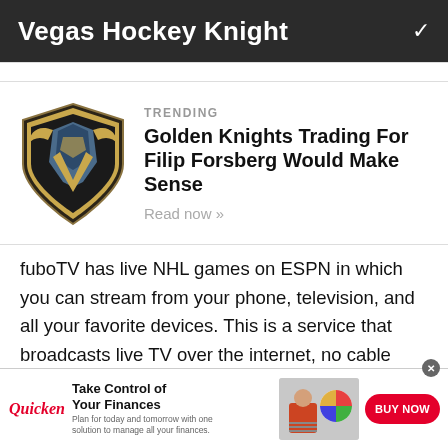Vegas Hockey Knight
TRENDING
Golden Knights Trading For Filip Forsberg Would Make Sense
Read now >>
fuboTV has live NHL games on ESPN in which you can stream from your phone, television, and all your favorite devices. This is a service that broadcasts live TV over the internet, no cable required. Watch your
[Figure (logo): Vegas Golden Knights shield logo with knight helmet]
Take Control of Your Finances — Plan for today and tomorrow with one solution to manage all your finances. BUY NOW — Quicken advertisement